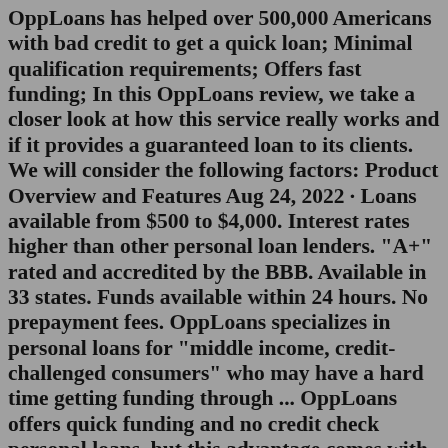OppLoans has helped over 500,000 Americans with bad credit to get a quick loan; Minimal qualification requirements; Offers fast funding; In this OppLoans review, we take a closer look at how this service really works and if it provides a guaranteed loan to its clients. We will consider the following factors: Product Overview and Features Aug 24, 2022 · Loans available from $500 to $4,000. Interest rates higher than other personal loan lenders. "A+" rated and accredited by the BBB. Available in 33 states. Funds available within 24 hours. No prepayment fees. OppLoans specializes in personal loans for "middle income, credit-challenged consumers" who may have a hard time getting funding through ... OppLoans offers quick funding and no credit check personal loans, but this advantage comes with OppLoans, otherwise known as Opportunity Financial or Opportunity Loans, is a personal short-term...Opploans Requirements Payday Loan Alternative - Opploans Requirements Fast Cash Online Easy Cash Advance Loans from $100 up to...